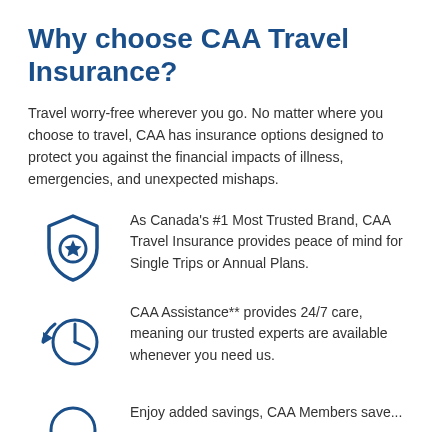Why choose CAA Travel Insurance?
Travel worry-free wherever you go. No matter where you choose to travel, CAA has insurance options designed to protect you against the financial impacts of illness, emergencies, and unexpected mishaps.
[Figure (illustration): Shield icon with a star in the center, dark blue outline style]
As Canada's #1 Most Trusted Brand, CAA Travel Insurance provides peace of mind for Single Trips or Annual Plans.
[Figure (illustration): Clock icon with a circular arrow indicating 24/7 availability, dark blue outline style]
CAA Assistance** provides 24/7 care, meaning our trusted experts are available whenever you need us.
[Figure (illustration): Partially visible icon at the bottom of the page]
Enjoy added savings, CAA Members save...